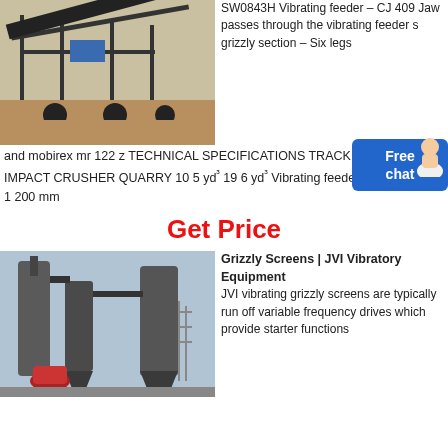[Figure (photo): Large outdoor mobile crushing/screening machine with conveyor belts and steel frame structure on a sandy site.]
SW0843H Vibrating feeder – CJ 409 Jaw passes through the vibrating feeder s grizzly section – Six legs
and mobirex mr 122 z TECHNICAL SPECIFICATIONS TRACK MOUNTED IMPACT CRUSHER QUARRY 10 5 yd³ 19 6 yd³ Vibrating feeder Width x length 1 200 mm
Get Price
[Figure (photo): Industrial grinding/milling facility with large cylindrical dust collectors and silos connected by pipes and conveyors.]
Grizzly Screens | JVI Vibratory Equipment
JVI vibrating grizzly screens are typically run off variable frequency drives which provide starter functions